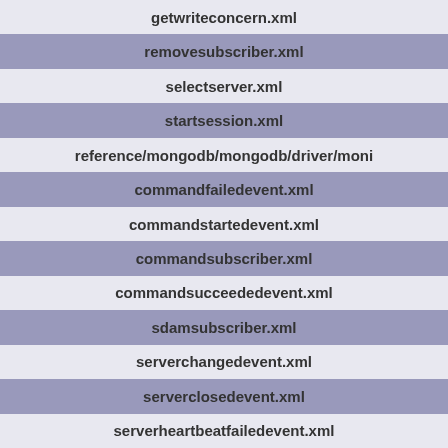getwriteconcern.xml
removesubscriber.xml
selectserver.xml
startsession.xml
reference/mongodb/mongodb/driver/moni
commandfailedevent.xml
commandstartedevent.xml
commandsubscriber.xml
commandsucceededevent.xml
sdamsubscriber.xml
serverchangedevent.xml
serverclosedevent.xml
serverheartbeatfailedevent.xml